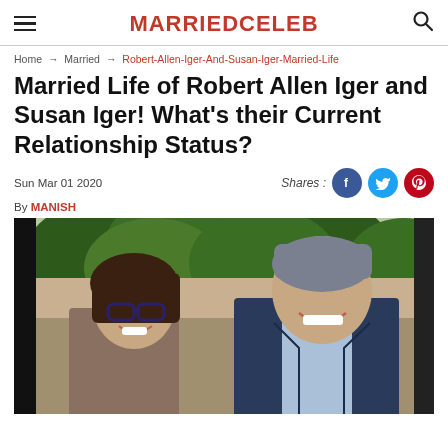MARRIEDCELEB
Home → Married → Robert-Allen-Iger-And-Susan-Iger-Married-Life
Married Life of Robert Allen Iger and Susan Iger! What's their Current Relationship Status?
Sun Mar 01 2020
Shares:
By MANISH
[Figure (photo): Photo of Robert Allen Iger and Susan Iger smiling together outdoors with green trees in background. Susan on left wearing glasses, Robert on right in dark suit.]